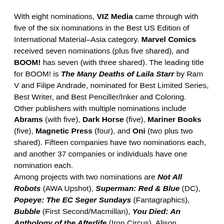With eight nominations, VIZ Media came through with five of the six nominations in the Best US Edition of International Material–Asia category. Marvel Comics received seven nominations (plus five shared), and BOOM! has seven (with three shared). The leading title for BOOM! is The Many Deaths of Laila Starr by Ram V and Filipe Andrade, nominated for Best Limited Series, Best Writer, and Best Penciller/Inker and Coloring.
Other publishers with multiple nominations include Abrams (with five), Dark Horse (five), Mariner Books (five), Magnetic Press (four), and Oni (two plus two shared). Fifteen companies have two nominations each, and another 37 companies or individuals have one nomination each.
Among projects with two nominations are Not All Robots (AWA Upshot), Superman: Red & Blue (DC), Popeye: The EC Seger Sundays (Fantagraphics), Bubble (First Second/Macmillan), You Died: An Anthology of the Afterlife (Iron Circus), Alison Bechdel's The Secret of Superhuman Strength (Mariner Books), Will McPhail's In(Mariner Books), Marvel Comics Library: Spider-Man 1962–1964 (TASCHEN), Lovesickness: Junii-Ito: Story Collection (VIZ Media), and Zom 100: Bucket